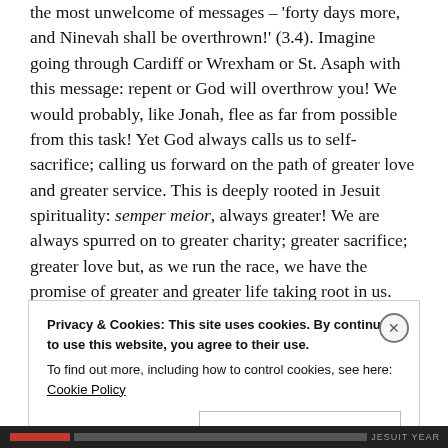the most unwelcome of messages – 'forty days more, and Ninevah shall be overthrown!' (3.4). Imagine going through Cardiff or Wrexham or St. Asaph with this message: repent or God will overthrow you! We would probably, like Jonah, flee as far from possible from this task! Yet God always calls us to self-sacrifice; calling us forward on the path of greater love and greater service. This is deeply rooted in Jesuit spirituality: semper meior, always greater! We are always spurred on to greater charity; greater sacrifice; greater love but, as we run the race, we have the promise of greater and greater life taking root in us.
Privacy & Cookies: This site uses cookies. By continuing to use this website, you agree to their use.
To find out more, including how to control cookies, see here: Cookie Policy
Close and accept